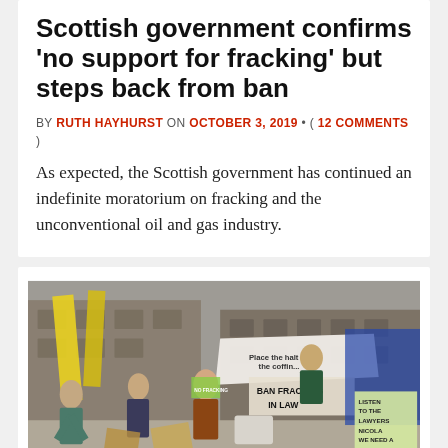Scottish government confirms 'no support for fracking' but steps back from ban
BY RUTH HAYHURST ON OCTOBER 3, 2019 • ( 12 COMMENTS )
As expected, the Scottish government has continued an indefinite moratorium on fracking and the unconventional oil and gas industry.
[Figure (photo): Anti-fracking protesters gathered outside a building in Scotland, holding banners including 'BAN FRACKING NOW' and 'LISTEN TO THE LAWYERS NICOLA WE NEED A LEGAL BAN', with yellow flags visible in the background.]